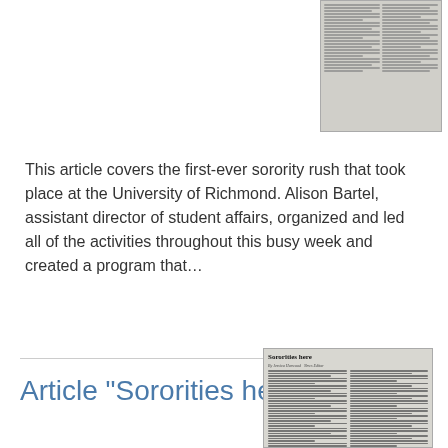[Figure (photo): Scanned newspaper article image at top right of page]
This article covers the first-ever sorority rush that took place at the University of Richmond. Alison Bartel, assistant director of student affairs, organized and led all of the activities throughout this busy week and created a program that…
Article "Sororities here"
[Figure (photo): Scanned newspaper article titled 'Sororities here' with byline and body text in two columns]